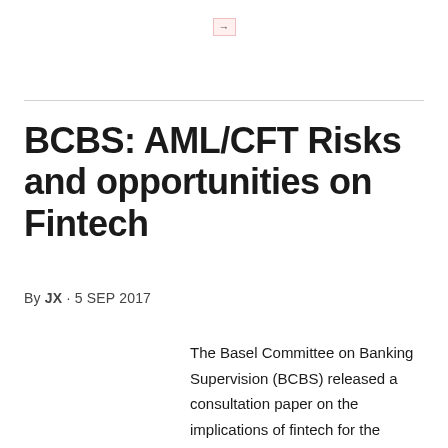→
BCBS: AML/CFT Risks and opportunities on Fintech
By JX · 5 SEP 2017
The Basel Committee on Banking Supervision (BCBS) released a consultation paper on the implications of fintech for the financial sector last Thursday on